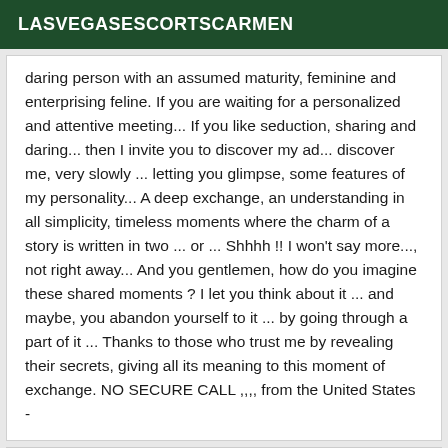LASVEGASESCORTSCARMEN
daring person with an assumed maturity, feminine and enterprising feline. If you are waiting for a personalized and attentive meeting... If you like seduction, sharing and daring... then I invite you to discover my ad... discover me, very slowly ... letting you glimpse, some features of my personality... A deep exchange, an understanding in all simplicity, timeless moments where the charm of a story is written in two ... or ... Shhhh !! I won't say more..., not right away... And you gentlemen, how do you imagine these shared moments ? I let you think about it ... and maybe, you abandon yourself to it ... by going through a part of it ... Thanks to those who trust me by revealing their secrets, giving all its meaning to this moment of exchange. NO SECURE CALL ,,,, from the United States -
[Figure (photo): Partial photo with a VIP badge in the bottom right corner on a dark green background. The image appears to show a light-colored abstract or body detail.]